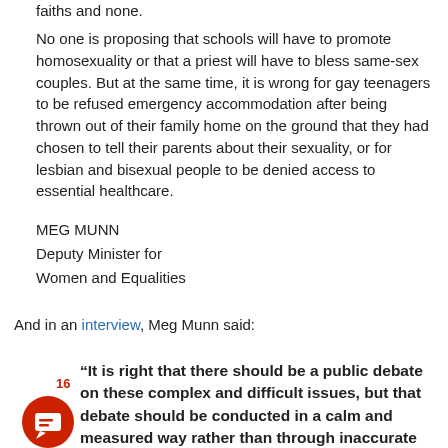faiths and none.
No one is proposing that schools will have to promote homosexuality or that a priest will have to bless same-sex couples. But at the same time, it is wrong for gay teenagers to be refused emergency accommodation after being thrown out of their family home on the ground that they had chosen to tell their parents about their sexuality, or for lesbian and bisexual people to be denied access to essential healthcare.
MEG MUNN
Deputy Minister for
Women and Equalities
And in an interview, Meg Munn said:
“It is right that there should be a public debate on these complex and difficult issues, but that debate should be conducted in a calm and measured way rather than through inaccurate and wild speculation.”